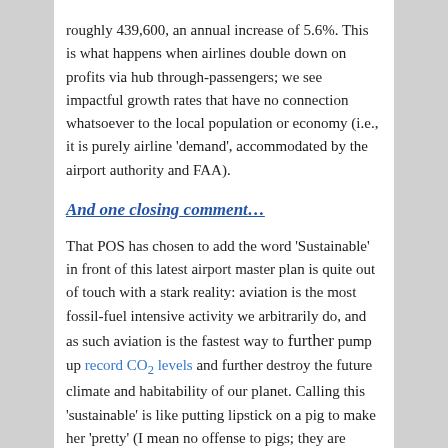roughly 439,600, an annual increase of 5.6%. This is what happens when airlines double down on profits via hub through-passengers; we see impactful growth rates that have no connection whatsoever to the local population or economy (i.e., it is purely airline 'demand', accommodated by the airport authority and FAA).
And one closing comment…
That POS has chosen to add the word 'Sustainable' in front of this latest airport master plan is quite out of touch with a stark reality: aviation is the most fossil-fuel intensive activity we arbitrarily do, and as such aviation is the fastest way to further pump up record CO2 levels and further destroy the future climate and habitability of our planet. Calling this 'sustainable' is like putting lipstick on a pig to make her 'pretty' (I mean no offense to pigs; they are beautiful too, after all).
Posted in ai-Rchives, AIPs: Activists, AIPs: Airport Authorities, Airlines, AirPollution, Aviation-ClimateChange, NextGenHell, Noise-Impact | Tagged